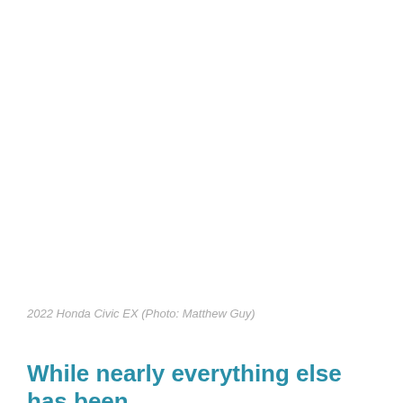[Figure (photo): 2022 Honda Civic EX — white/blank photo area]
2022 Honda Civic EX (Photo: Matthew Guy)
While nearly everything else has been